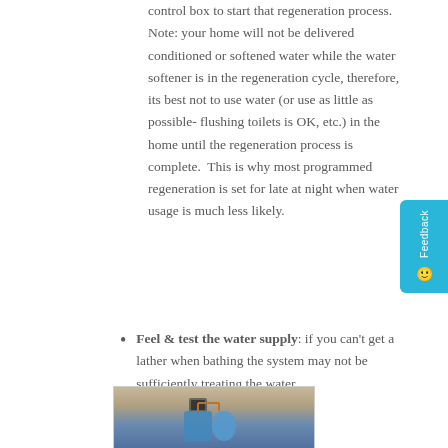control box to start that regeneration process.  Note: your home will not be delivered conditioned or softened water while the water softener is in the regeneration cycle, therefore, its best not to use water (or use as little as possible-flushing toilets is OK, etc.) in the home until the regeneration process is complete.  This is why most programmed regeneration is set for late at night when water usage is much less likely.
Feel & test the water supply: if you can't get a lather when bathing the system may not be sufficiently treating the water.
[Figure (photo): Photo of a water softener system installed against a wall, showing a control head unit and blue tank with copper piping.]